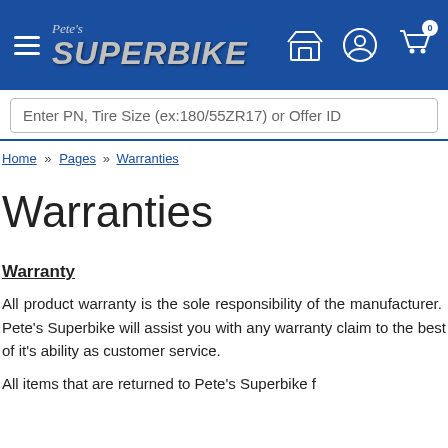Pete's Superbike – navigation header with hamburger menu, logo, store icon, account icon, cart icon (0)
Enter PN, Tire Size (ex:180/55ZR17) or Offer ID
Home » Pages » Warranties
Warranties
Warranty
All product warranty is the sole responsibility of the manufacturer.  Pete's Superbike will assist you with any warranty claim to the best of it's ability as customer service.
All items that are returned to Pete's Superbike f…